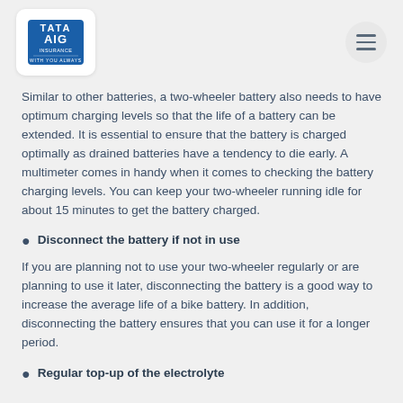[Figure (logo): Tata AIG Insurance logo - blue square with TATA AIG INSURANCE text and 'WITH YOU ALWAYS' tagline]
Similar to other batteries, a two-wheeler battery also needs to have optimum charging levels so that the life of a battery can be extended. It is essential to ensure that the battery is charged optimally as drained batteries have a tendency to die early. A multimeter comes in handy when it comes to checking the battery charging levels. You can keep your two-wheeler running idle for about 15 minutes to get the battery charged.
Disconnect the battery if not in use
If you are planning not to use your two-wheeler regularly or are planning to use it later, disconnecting the battery is a good way to increase the average life of a bike battery. In addition, disconnecting the battery ensures that you can use it for a longer period.
Regular top-up of the electrolyte